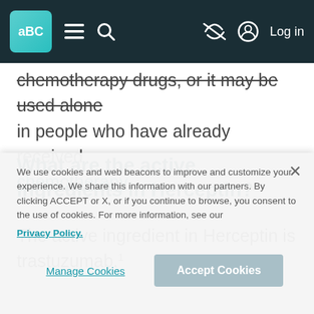aBC [navigation bar with logo, menu, search, and Log in]
chemotherapy drugs, or it may be used alone in people who have already received chemotherapy.
What are the active ingredients in Herceptin?
The active ingredient in Herceptin is trastuzumab.¹
We use cookies and web beacons to improve and customize your experience. We share this information with our partners. By clicking ACCEPT or X, or if you continue to browse, you consent to the use of cookies. For more information, see our Privacy Policy.
Manage Cookies | Accept Cookies